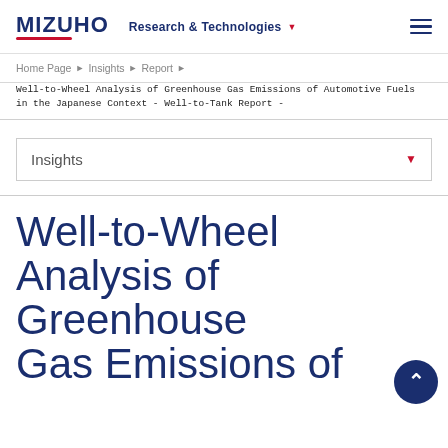MIZUHO Research & Technologies
Home Page ▶ Insights ▶ Report ▶
Well-to-Wheel Analysis of Greenhouse Gas Emissions of Automotive Fuels in the Japanese Context - Well-to-Tank Report -
Insights
Well-to-Wheel Analysis of Greenhouse Gas Emissions of